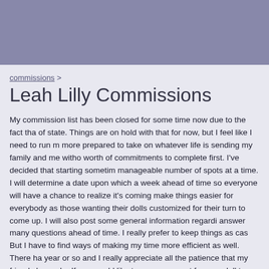commissions >
Leah Lilly Commissions
My commission list has been closed for some time now due to the fact that of state. Things are on hold with that for now, but I feel like I need to run m more prepared to take on whatever life is sending my family and me witho worth of commitments to complete first. I've decided that starting sometim manageable number of spots at a time. I will determine a date upon which a week ahead of time so everyone will have a chance to realize it's coming make things easier for everybody as those wanting their dolls customized for their turn to come up. I will also post some general information regardi answer many questions ahead of time. I really prefer to keep things as cas But I have to find ways of making my time more efficient as well. There ha year or so and I really appreciate all the patience that my friends have sho If you would like to reserve a spot for your doll to come see me, watch this notified that reservations are opening up. I have some projects in the work endeavoring to finish. Please stay tuned. ;0)